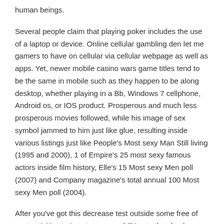human beings.
Several people claim that playing poker includes the use of a laptop or device. Online cellular gambling den let me gamers to have on cellular via cellular webpage as well as apps. Yet, newer mobile casino wars game titles tend to be the same in mobile such as they happen to be along desktop, whether playing in a Bb, Windows 7 cellphone, Android os, or IOS product. Prosperous and much less prosperous movies followed, while his image of sex symbol jammed to him just like glue, resulting inside various listings just like People's Most sexy Man Still living (1995 and 2000), 1 of Empire's 25 most sexy famous actors inside film history, Elle's 15 Most sexy Men poll (2007) and Company magazine's total annual 100 Most sexy Men poll (2004).
After you've got this decrease test outside some free of cost activities to insert your capabilities to the check before you bet with great dollars. Time period may make everyone much like